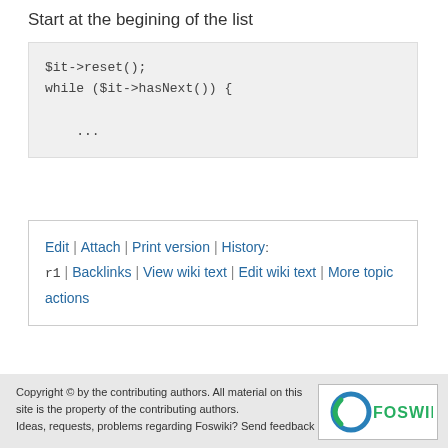Start at the begining of the list
$it->reset();
while ($it->hasNext()) {

    ...
Edit | Attach | Print version | History: r1 | Backlinks | View wiki text | Edit wiki text | More topic actions
Copyright © by the contributing authors. All material on this site is the property of the contributing authors.
Ideas, requests, problems regarding Foswiki? Send feedback